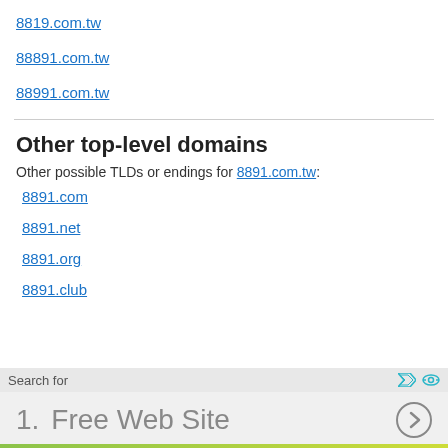8819.com.tw
88891.com.tw
88991.com.tw
Other top-level domains
Other possible TLDs or endings for 8891.com.tw:
8891.com
8891.net
8891.org
8891.club
Search for
1.  Free Web Site